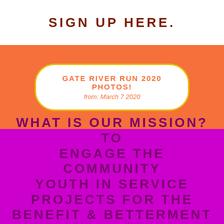SIGN UP HERE.
GATE RIVER RUN 2020 PHOTOS!
from: March 7 2020
WHAT IS OUR MISSION? TO ENGAGE THE COMMUNITY YOUTH IN SERVICE PROJECTS FOR THE BENEFIT & BETTERMENT OF THE COMMUNITY AND